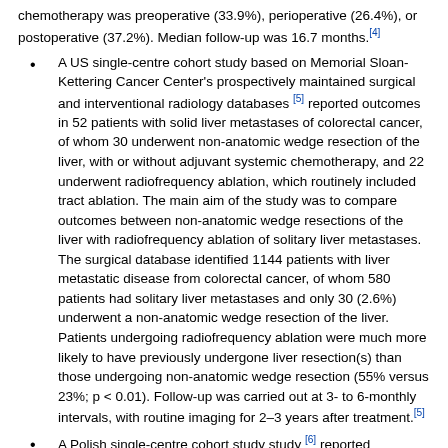chemotherapy was preoperative (33.9%), perioperative (26.4%), or postoperative (37.2%). Median follow-up was 16.7 months.[4]
A US single-centre cohort study based on Memorial Sloan-Kettering Cancer Center's prospectively maintained surgical and interventional radiology databases [5] reported outcomes in 52 patients with solid liver metastases of colorectal cancer, of whom 30 underwent non-anatomic wedge resection of the liver, with or without adjuvant systemic chemotherapy, and 22 underwent radiofrequency ablation, which routinely included tract ablation. The main aim of the study was to compare outcomes between non-anatomic wedge resections of the liver with radiofrequency ablation of solitary liver metastases. The surgical database identified 1144 patients with liver metastatic disease from colorectal cancer, of whom 580 patients had solitary liver metastases and only 30 (2.6%) underwent a non-anatomic wedge resection of the liver. Patients undergoing radiofrequency ablation were much more likely to have previously undergone liver resection(s) than those undergoing non-anatomic wedge resection (55% versus 23%; p < 0.01). Follow-up was carried out at 3- to 6-monthly intervals, with routine imaging for 2–3 years after treatment.[5]
A Polish single-centre cohort study study [6] reported outcomes for 130 patients with synchronous (50; 38%) or metachronous (80; 62%) liver metastases who underwent either liver resection with or without radiofrequency ablation, or thermal ablation...